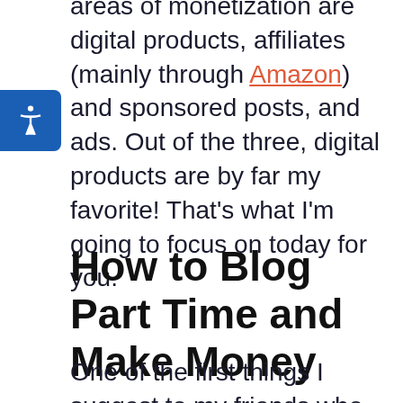areas of monetization are digital products, affiliates (mainly through Amazon) and sponsored posts, and ads. Out of the three, digital products are by far my favorite! That's what I'm going to focus on today for you.
How to Blog Part Time and Make Money
One of the first things I suggest to my friends who are just starting blogs is to